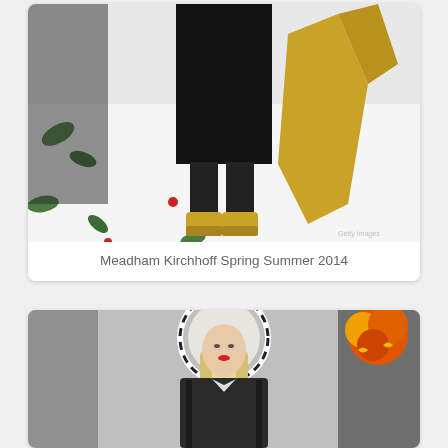[Figure (photo): Fashion runway photo showing lower body of model in black sequined dress with black socks and gold platform shoes, carrying gold fabric, with scattered green leaves and red flowers on white floor. Meadham Kirchhoff Spring Summer 2014.]
Meadham Kirchhoff Spring Summer 2014
[Figure (photo): Fashion runway photo showing two models. Front model has blonde braided hair with large black and white halo headpiece, wearing dark leather coat. Behind is a model with orange and yellow yarn/knit wig wearing black sheer outfit.]